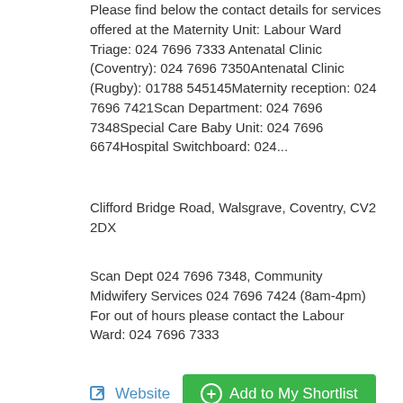Please find below the contact details for services offered at the Maternity Unit: Labour Ward Triage: 024 7696 7333 Antenatal Clinic (Coventry): 024 7696 7350Antenatal Clinic (Rugby): 01788 545145Maternity reception: 024 7696 7421Scan Department: 024 7696 7348Special Care Baby Unit: 024 7696 6674Hospital Switchboard: 024...
Clifford Bridge Road, Walsgrave, Coventry, CV2 2DX
Scan Dept 024 7696 7348, Community Midwifery Services 024 7696 7424 (8am-4pm) For out of hours please contact the Labour Ward: 024 7696 7333
Website  Add to My Shortlist
Women's Music Class
Back to top